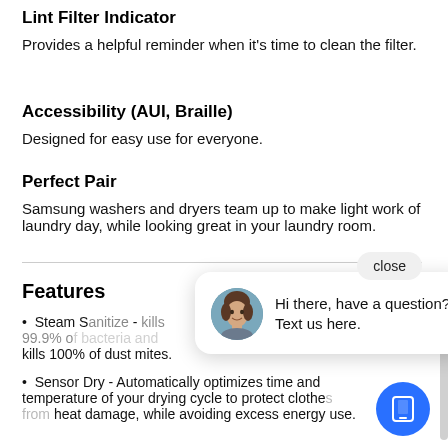Lint Filter Indicator
Provides a helpful reminder when it's time to clean the filter.
Accessibility (AUI, Braille)
Designed for easy use for everyone.
Perfect Pair
Samsung washers and dryers team up to make light work of laundry day, while looking great in your laundry room.
Features
Steam Sanitize - kills 99.9% of bacteria and kills 100% of dust mites.
Sensor Dry - Automatically optimizes time and temperature of your drying cycle to protect clothes from heat damage, while avoiding excess energy use.
[Figure (photo): Chat popup overlay with a female avatar and text: Hi there, have a question? Text us here. A close button is above the popup and a blue phone icon button is at the bottom right.]